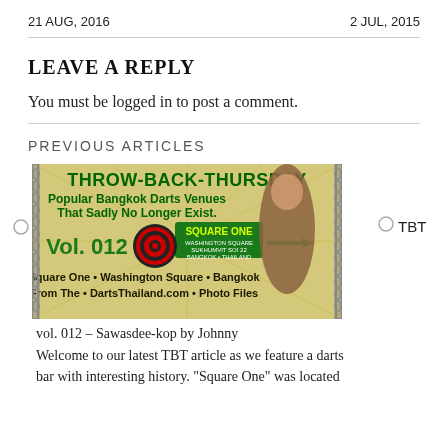21 AUG, 2016    2 JUL, 2015
LEAVE A REPLY
You must be logged in to post a comment.
PREVIOUS ARTICLES
[Figure (illustration): Throw-Back-Thursday banner image showing a dart board, woman on swing, text: 'THROW-BACK-THURSDAY Popular Bangkok Darts Venues That Sadly No Longer Exist. Vol. 012 Square One • Washington Square • Bangkok From The • DartsThailand.com • Photo Files']
vol. 012 – Sawasdee-kop by Johnny
Welcome to our latest TBT article as we feature a darts bar with interesting history. "Square One" was located